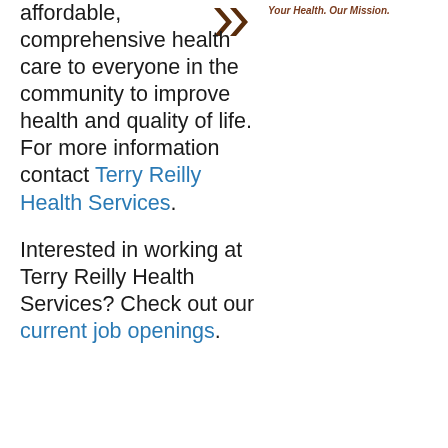[Figure (logo): Terry Reilly Health Services logo — stylized arrows/chevron mark in brown/dark red]
Your Health. Our Mission.
affordable, comprehensive health care to everyone in the community to improve health and quality of life. For more information contact Terry Reilly Health Services.
Interested in working at Terry Reilly Health Services? Check out our current job openings.